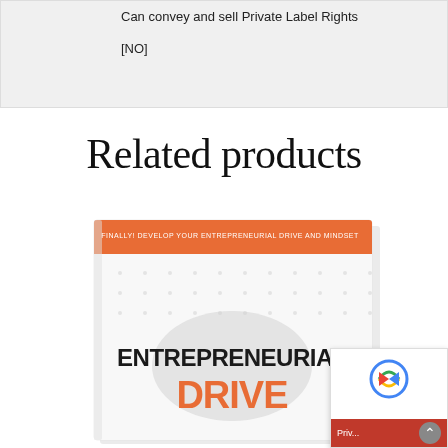Can convey and sell Private Label Rights
[NO]
Related products
[Figure (photo): Book cover of 'Entrepreneurial Drive' with orange accent banner reading 'FINALLY DEVELOP YOUR ENTREPRENEURIAL DRIVE AND MINDSET' and large bold title text 'ENTREPRENEURIAL DRIVE']